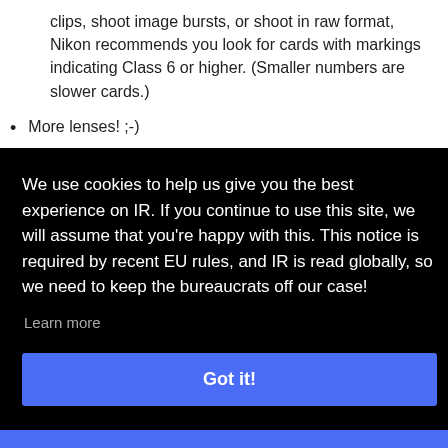clips, shoot image bursts, or shoot in raw format, Nikon recommends you look for cards with markings indicating Class 6 or higher. (Smaller numbers are slower cards.)
More lenses! ;-)
Medium-sized camera bag (or a small one if you're only
We use cookies to help us give you the best experience on IR. If you continue to use this site, we will assume that you're happy with this. This notice is required by recent EU rules, and IR is read globally, so we need to keep the bureaucrats off our case!
Learn more
Got it!